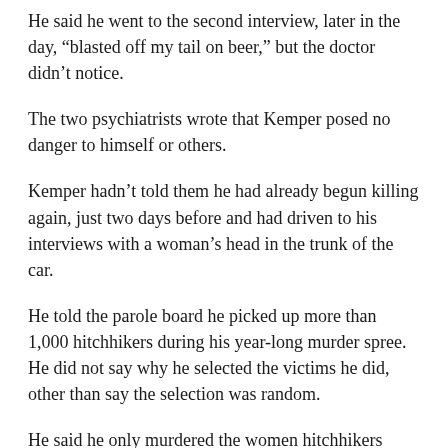He said he went to the second interview, later in the day, “blasted off my tail on beer,” but the doctor didn’t notice.
The two psychiatrists wrote that Kemper posed no danger to himself or others.
Kemper hadn’t told them he had already begun killing again, just two days before and had driven to his interviews with a woman’s head in the trunk of the car.
He told the parole board he picked up more than 1,000 hitchhikers during his year-long murder spree. He did not say why he selected the victims he did, other than say the selection was random.
He said he only murdered the women hitchhikers because the women in his life, especially his mother, had caused his only grief.
Kemper talked at length about his mother and drunken